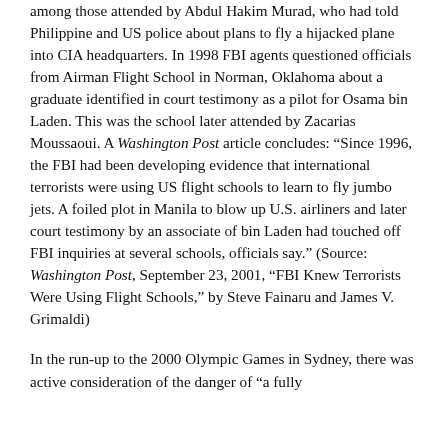among those attended by Abdul Hakim Murad, who had told Philippine and US police about plans to fly a hijacked plane into CIA headquarters. In 1998 FBI agents questioned officials from Airman Flight School in Norman, Oklahoma about a graduate identified in court testimony as a pilot for Osama bin Laden. This was the school later attended by Zacarias Moussaoui. A Washington Post article concludes: “Since 1996, the FBI had been developing evidence that international terrorists were using US flight schools to learn to fly jumbo jets. A foiled plot in Manila to blow up U.S. airliners and later court testimony by an associate of bin Laden had touched off FBI inquiries at several schools, officials say.” (Source: Washington Post, September 23, 2001, “FBI Knew Terrorists Were Using Flight Schools,” by Steve Fainaru and James V. Grimaldi)
In the run-up to the 2000 Olympic Games in Sydney, there was active consideration of the danger of “a fully